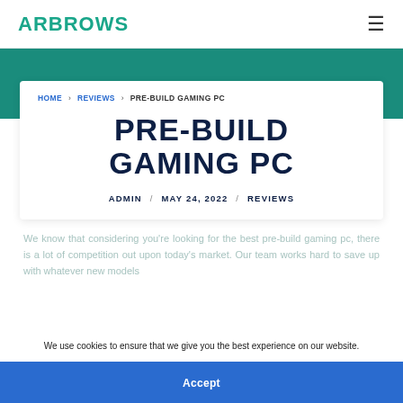ARBROWS
HOME > REVIEWS > PRE-BUILD GAMING PC
PRE-BUILD GAMING PC
ADMIN / MAY 24, 2022 / REVIEWS
We know that considering you're looking for the best pre-build gaming pc, there is a lot of competition out upon today's market. Our team works hard to save up with whatever new models
We use cookies to ensure that we give you the best experience on our website.
Accept